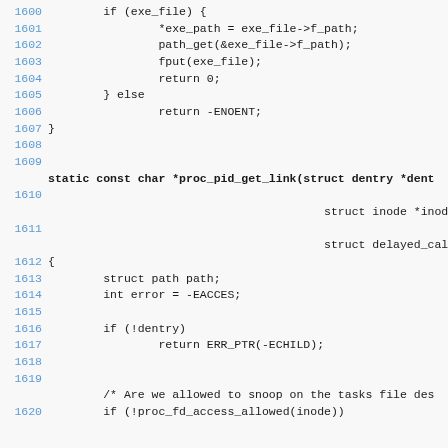[Figure (screenshot): Source code listing (C kernel code) showing lines 1600-1620, including proc_pid_get_link function definition with struct path, error handling for dentry, and a comment about snooping task file descriptors.]